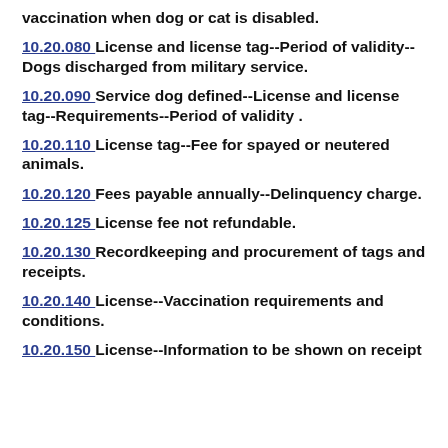vaccination when dog or cat is disabled.
10.20.080 License and license tag--Period of validity--Dogs discharged from military service.
10.20.090 Service dog defined--License and license tag--Requirements--Period of validity .
10.20.110 License tag--Fee for spayed or neutered animals.
10.20.120 Fees payable annually--Delinquency charge.
10.20.125 License fee not refundable.
10.20.130 Recordkeeping and procurement of tags and receipts.
10.20.140 License--Vaccination requirements and conditions.
10.20.150 License--Information to be shown on receipt